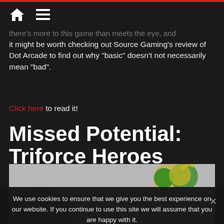Home / Menu
there's more to this game than meets the eye, and it might be worth checking out Source Gaming's review of Dot Arcade to find out why “basic” doesn’t not necessarily mean “bad”.
Click here to read it!
Missed Potential: Triforce Heroes
[Figure (illustration): Triforce Heroes game illustration with characters and title logo overlay, partially obscured by cookie consent banner]
We use cookies to ensure that we give you the best experience on our website. If you continue to use this site we will assume that you are happy with it.
I understand  Privacy policy